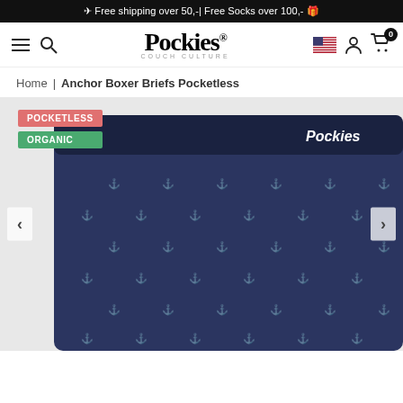✈ Free shipping over 50,-| Free Socks over 100,- 🎁
[Figure (logo): Pockies logo with tagline 'couch culture']
Home | Anchor Boxer Briefs Pocketless
[Figure (photo): Navy blue anchor-pattern boxer briefs with Pockies branded waistband, shown against light gray background. Badges: POCKETLESS (pink), ORGANIC (green). Left and right navigation arrows visible.]